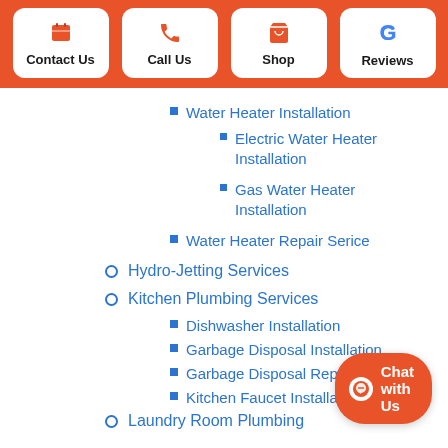Contact Us | Call Us | Shop | Reviews
Water Heater Installation
Electric Water Heater Installation
Gas Water Heater Installation
Water Heater Repair Serice
Hydro-Jetting Services
Kitchen Plumbing Services
Dishwasher Installation
Garbage Disposal Installation
Garbage Disposal Repair
Kitchen Faucet Installation
Laundry Room Plumbing
Laundry Room Sinks
Laundy Pro Ins...
Washing Machine Outlet Boxes